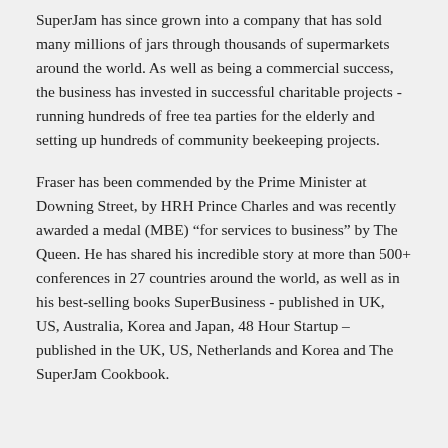SuperJam has since grown into a company that has sold many millions of jars through thousands of supermarkets around the world. As well as being a commercial success, the business has invested in successful charitable projects - running hundreds of free tea parties for the elderly and setting up hundreds of community beekeeping projects.
Fraser has been commended by the Prime Minister at Downing Street, by HRH Prince Charles and was recently awarded a medal (MBE) “for services to business” by The Queen. He has shared his incredible story at more than 500+ conferences in 27 countries around the world, as well as in his best-selling books SuperBusiness - published in UK, US, Australia, Korea and Japan, 48 Hour Startup – published in the UK, US, Netherlands and Korea and The SuperJam Cookbook.